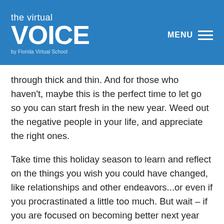the virtual VOICE by Florida Virtual School
through thick and thin. And for those who haven't, maybe this is the perfect time to let go so you can start fresh in the new year. Weed out the negative people in your life, and appreciate the right ones.
Take time this holiday season to learn and reflect on the things you wish you could have changed, like relationships and other endeavors...or even if you procrastinated a little too much. But wait – if you are focused on becoming better next year (which is so close), you may wonder "What did I do wrong?" Well, we all do things wrong. No one is perfect and now is a great time to realize that.
CONTINUE READING